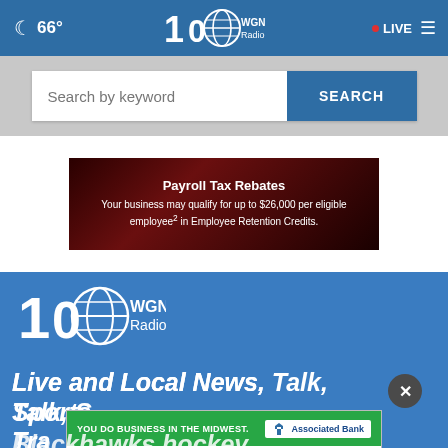🌙 66° | WGN Radio 100 | LIVE
Search by keyword
SEARCH
[Figure (screenshot): Dark red advertisement banner: 'Payroll Tax Rebates – Your business may qualify for up to $26,000 per eligible employee² in Employee Retention Credits.']
[Figure (logo): WGN Radio 100th anniversary logo in white on blue background]
Live and Local News, Talk, Sports, Traffic & Blackhawks hockey
[Figure (screenshot): Associated Bank advertisement: 'YOU DO BUSINESS IN THE MIDWEST.' with green background and 'LEARN MORE' button. Member FDIC.]